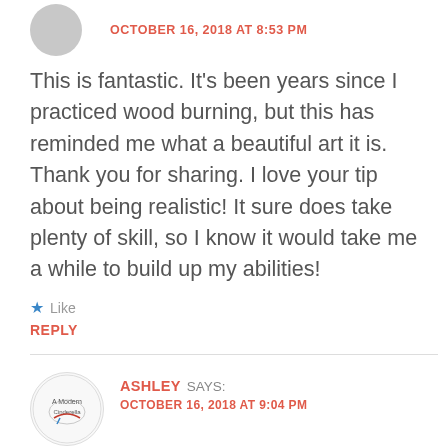OCTOBER 16, 2018 AT 8:53 PM
This is fantastic. It’s been years since I practiced wood burning, but this has reminded me what a beautiful art it is. Thank you for sharing. I love your tip about being realistic! It sure does take plenty of skill, so I know it would take me a while to build up my abilities!
★ Like
REPLY
ASHLEY SAYS:
OCTOBER 16, 2018 AT 9:04 PM